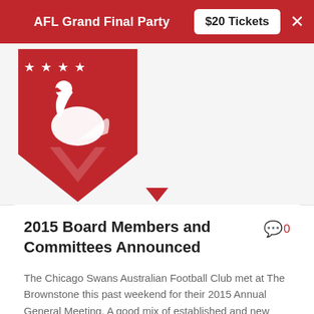AFL Grand Final Party  $20 Tickets  ×
[Figure (logo): Chicago Swans Australian Football Club logo — red triangle/shield with white swan and four white stars, on a red background]
2015 Board Members and Committees Announced
The Chicago Swans Australian Football Club met at The Brownstone this past weekend for their 2015 Annual General Meeting. A good mix of established and new leaders stood for office, and the following committees were formed to lead the Swans for the 2015 season.
Executive Committee:
President: Brian Hoyt